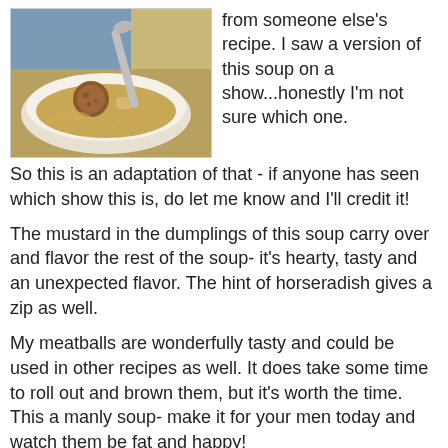[Figure (photo): A white bowl of meatball soup with a spoon resting on it, showing meatballs and broth, photographed from above at an angle.]
from someone else's recipe. I saw a version of this soup on a show...honestly I'm not sure which one. So this is an adaptation of that - if anyone has seen which show this is, do let me know and I'll credit it!
The mustard in the dumplings of this soup carry over and flavor the rest of the soup- it's hearty, tasty and an unexpected flavor. The hint of horseradish gives a zip as well.
My meatballs are wonderfully tasty and could be used in other recipes as well. It does take some time to roll out and brown them, but it's worth the time. This a manly soup- make it for your men today and watch them be fat and happy!
Meatball Soup with Mustard Dumplings
Sautee in olive oil: